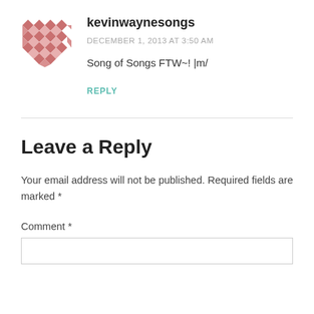[Figure (illustration): Avatar image for user kevinwaynesongs - a decorative geometric pattern with red/pink diamond and triangle shapes arranged in a grid]
kevinwaynesongs
DECEMBER 1, 2013 AT 3:50 AM
Song of Songs FTW~! |m/
REPLY
Leave a Reply
Your email address will not be published. Required fields are marked *
Comment *